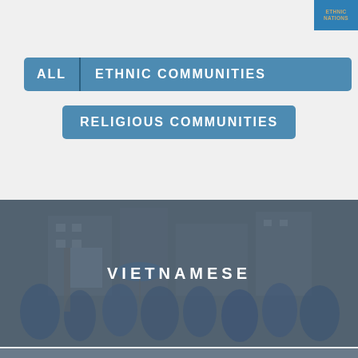[Figure (logo): Small logo in top right corner with gold/tan text on blue background]
ALL | ETHNIC COMMUNITIES
RELIGIOUS COMMUNITIES
[Figure (photo): Photo of Vietnamese community members in a parade or procession, people wearing blue clothing carrying banners, overlaid with dark semi-transparent layer and the word VIETNAMESE centered]
[Figure (photo): Bottom edge of another community card, partially visible]